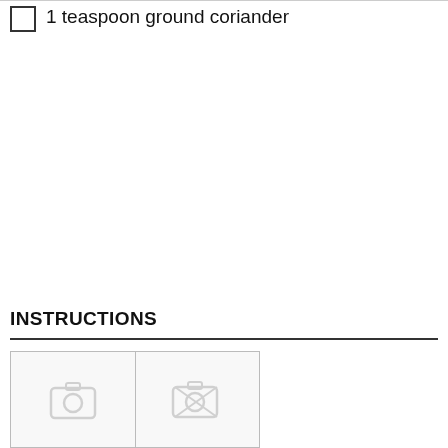1 teaspoon ground coriander
INSTRUCTIONS
[Figure (photo): Two placeholder photo cells with camera icons, indicating image slots for step-by-step instructions]